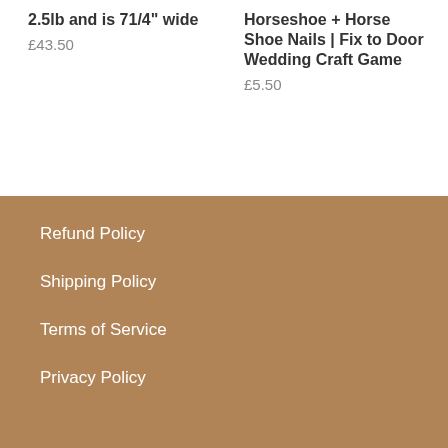2.5lb and is 71/4" wide
£43.50
Horseshoe + Horse Shoe Nails | Fix to Door Wedding Craft Game
£5.50
Refund Policy
Shipping Policy
Terms of Service
Privacy Policy